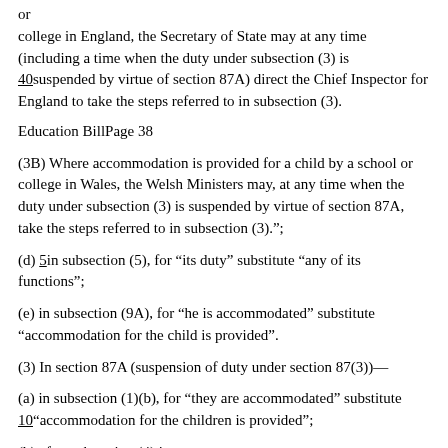or
college in England, the Secretary of State may at any time (including a time when the duty under subsection (3) is 40suspended by virtue of section 87A) direct the Chief Inspector for England to take the steps referred to in subsection (3).
Education BillPage 38
(3B) Where accommodation is provided for a child by a school or college in Wales, the Welsh Ministers may, at any time when the duty under subsection (3) is suspended by virtue of section 87A, take the steps referred to in subsection (3).”;
(d) 5in subsection (5), for “its duty” substitute “any of its functions”;
(e) in subsection (9A), for “he is accommodated” substitute “accommodation for the child is provided”.
(3) In section 87A (suspension of duty under section 87(3))—
(a) in subsection (1)(b), for “they are accommodated” substitute
10“accommodation for the children is provided”;
(b) after subsection (4) insert—